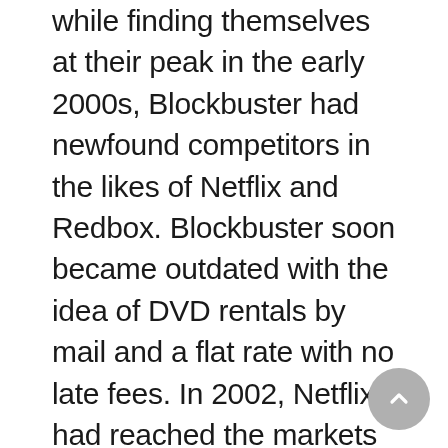while finding themselves at their peak in the early 2000s, Blockbuster had newfound competitors in the likes of Netflix and Redbox. Blockbuster soon became outdated with the idea of DVD rentals by mail and a flat rate with no late fees. In 2002, Netflix had reached the markets with a public offering worth $95 million. In 2006, Netflix had passed Blockbuster in yearly revenue: earning $80 million in profits. By 2007, Netflix had released its on-demand streaming services and the ideas of in person DVD rental soon vanished. Their outdated business model, coupled with billions in debt that Blockbuster carried from their prior ownership with Viacom, had forced